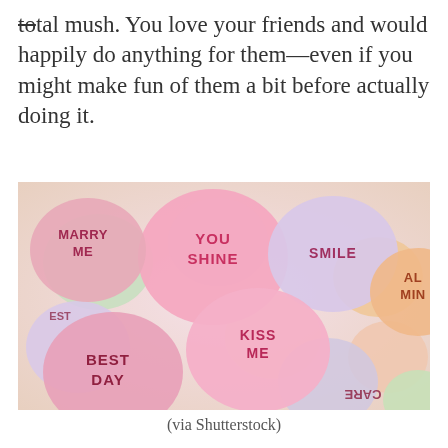total mush. You love your friends and would happily do anything for them—even if you might make fun of them a bit before actually doing it.
[Figure (photo): Photo of colorful candy conversation hearts with messages MARRY ME, YOU SHINE, SMILE, AL MIN, KISS ME, BEST DAY, CARE, EST visible on the hearts.]
(via Shutterstock)